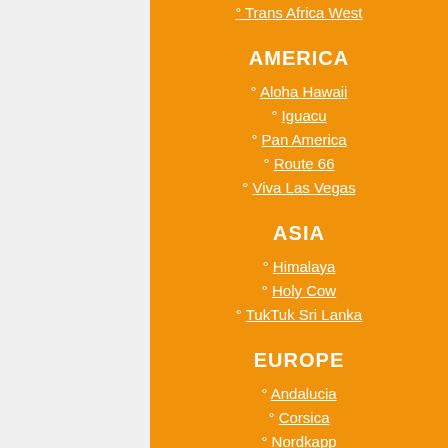Trans Africa West
AMERICA
Aloha Hawaii
Iguacu
Pan America
Route 66
Viva Las Vegas
ASIA
Himalaya
Holy Cow
TukTuk Sri Lanka
EUROPE
Andalucia
Corsica
Nordkapp
Olympia
Route Napoleon